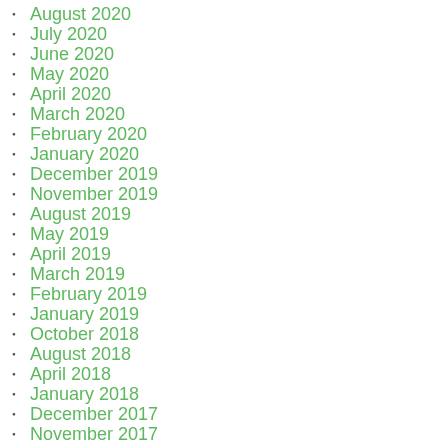August 2020
July 2020
June 2020
May 2020
April 2020
March 2020
February 2020
January 2020
December 2019
November 2019
August 2019
May 2019
April 2019
March 2019
February 2019
January 2019
October 2018
August 2018
April 2018
January 2018
December 2017
November 2017